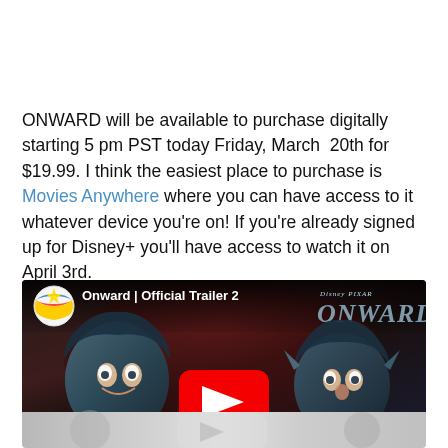ONWARD will be available to purchase digitally starting 5 pm PST today Friday, March 20th for $19.99. I think the easiest place to purchase is Movies Anywhere where you can have access to it whatever device you're on! If you're already signed up for Disney+ you'll have access to watch it on April 3rd.
[Figure (screenshot): YouTube video thumbnail for 'Onward | Official Trailer 2' showing two animated elf characters from the Pixar/Disney movie Onward, with the Pixar ball logo and the movie title/logo visible. A YouTube play button is overlaid at the bottom.]